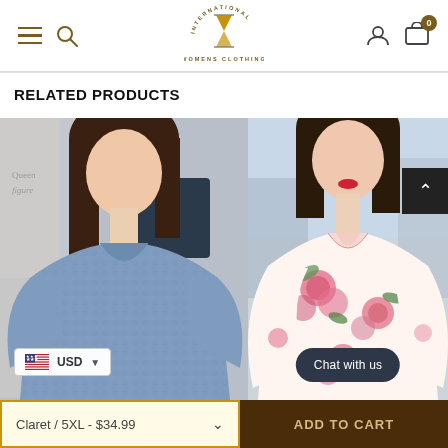International Womens Clothing — navigation header with menu, search, logo, account, cart (0)
RELATED PRODUCTS
[Figure (photo): Woman wearing a blue lace/chiffon top with 3/4 sleeves, V-neck, floral embroidery details. Indoor setting. Currency selector badge showing USD with US flag.]
[Figure (photo): Woman wearing a white floral print blouse with pink roses, V-neck with bow/ruffle detail and bell sleeves. Outdoor/window background. Back-to-top button and 'Chat with us' button overlay.]
Claret / 5XL - $34.99
ADD TO CART